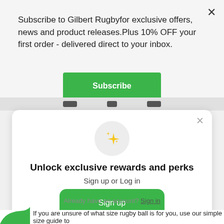Subscribe to Gilbert Rugbyfor exclusive offers, news and product releases.Plus 10% OFF your first order - delivered direct to your inbox.
Subscribe
[Figure (illustration): Sparkle / star emoji icon inside a light gray circle]
Unlock exclusive rewards and perks
Sign up or Log in
Sign up
Already have an account? Sign in
If you are unsure of what size rugby ball is for you, use our simple size guide to